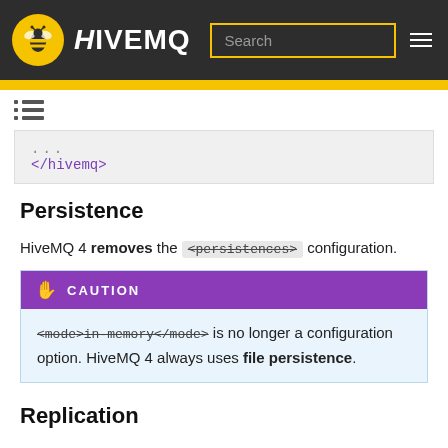HiveMQ
...  </hivemq>
Persistence
HiveMQ 4 removes the <persistences> configuration.
CAUTION: <mode>in-memory</mode> is no longer a configuration option. HiveMQ 4 always uses file persistence.
Replication